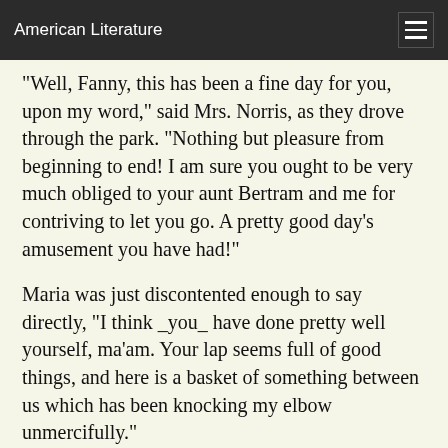American Literature
"Well, Fanny, this has been a fine day for you, upon my word," said Mrs. Norris, as they drove through the park. "Nothing but pleasure from beginning to end! I am sure you ought to be very much obliged to your aunt Bertram and me for contriving to let you go. A pretty good day's amusement you have had!"
Maria was just discontented enough to say directly, "I think _you_ have done pretty well yourself, ma'am. Your lap seems full of good things, and here is a basket of something between us which has been knocking my elbow unmercifully."
"My dear, it is only a beautiful little heath, which that nice old gardener would make me take; but if it is in